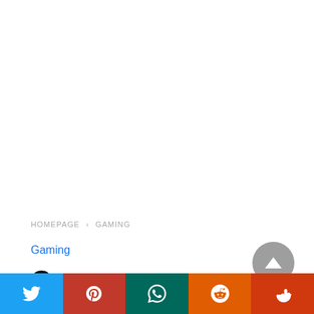HOMEPAGE > GAMING
Gaming
Conan Unconquered The